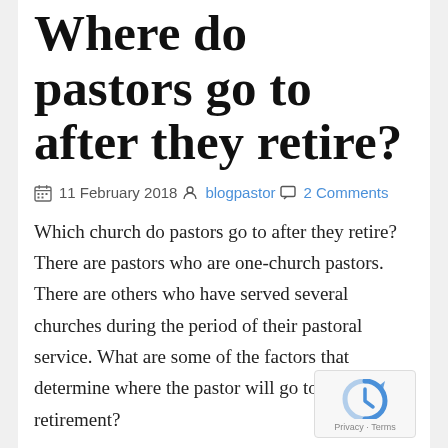Where do pastors go to after they retire?
11 February 2018  blogpastor  2 Comments
Which church do pastors go to after they retire? There are pastors who are one-church pastors. There are others who have served several churches during the period of their pastoral service. What are some of the factors that determine where the pastor will go to after retirement?
A pastor may have a painful exit and continuin in the church that caused the hurt is difficult. He